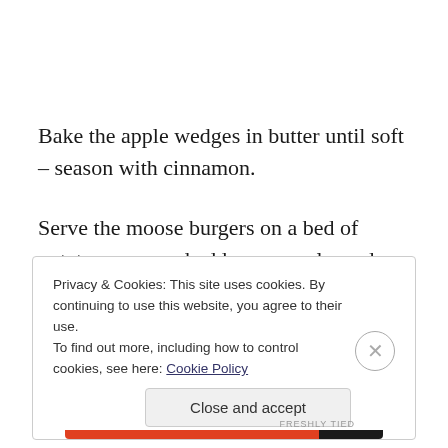Bake the apple wedges in butter until soft – season with cinnamon.
Serve the moose burgers on a bed of potato puree, and add some apple wedges and blueberry sauce. Sprinkle fresh blueberries and thyme.
Privacy & Cookies: This site uses cookies. By continuing to use this website, you agree to their use.
To find out more, including how to control cookies, see here: Cookie Policy
Close and accept